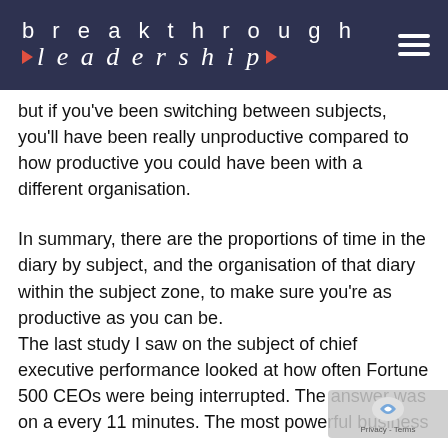breakthrough leadership
but if you've been switching between subjects, you'll have been really unproductive compared to how productive you could have been with a different organisation.
In summary, there are the proportions of time in the diary by subject, and the organisation of that diary within the subject zone, to make sure you're as productive as you can be.
The last study I saw on the subject of chief executive performance looked at how often Fortune 500 CEOs were being interrupted. The answer was on a every 11 minutes. The most powerful busines people on the planet, with arguably to to d